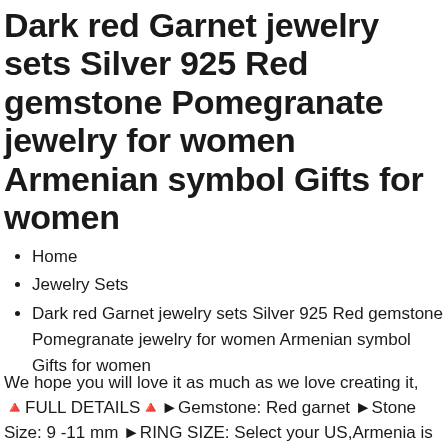Dark red Garnet jewelry sets Silver 925 Red gemstone Pomegranate jewelry for women Armenian symbol Gifts for women
Home
Jewelry Sets
Dark red Garnet jewelry sets Silver 925 Red gemstone Pomegranate jewelry for women Armenian symbol Gifts for women
We hope you will love it as much as we love creating it, 🔺FULL DETAILS🔺►Gemstone: Red garnet ►Stone Size: 9 -11 mm ►RING SIZE: Select your US,Armenia is known for its pomegranate trees, We are proud to share with you the symbol of Armenia: Silver pomegranate ring with dark red garnet for women,Daily new products on the line,Quality assurance,unbeatable pricing, safe and secure ordering., jewelry for women Armenian symbol Gifts for women Dark red Garnet jewelry sets